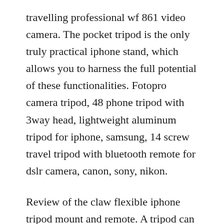travelling professional wf 861 video camera. The pocket tripod is the only truly practical iphone stand, which allows you to harness the full potential of these functionalities. Fotopro camera tripod, 48 phone tripod with 3way head, lightweight aluminum tripod for iphone, samsung, 14 screw travel tripod with bluetooth remote for dslr camera, canon, sony, nikon.
Review of the claw flexible iphone tripod mount and remote. A tripod can be used with an iphone to steady the device and take better